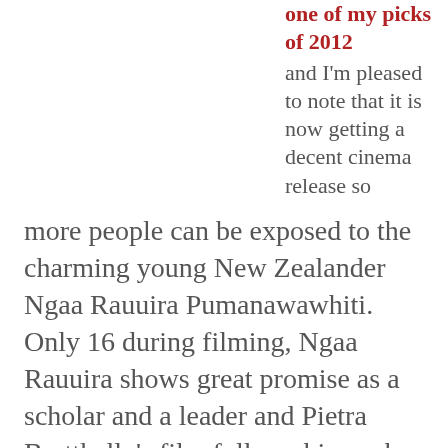one of my picks of 2012 and I'm pleased to note that it is now getting a decent cinema release so more people can be exposed to the charming young New Zealander Ngaa Rauuira Pumanawawhiti. Only 16 during filming, Ngaa Rauuira shows great promise as a scholar and a leader and Pietra Brettkelly's film follows him as he takes on the immense challenge of studying international politics at Yale University. This is only the beginning for a fascinating young man.